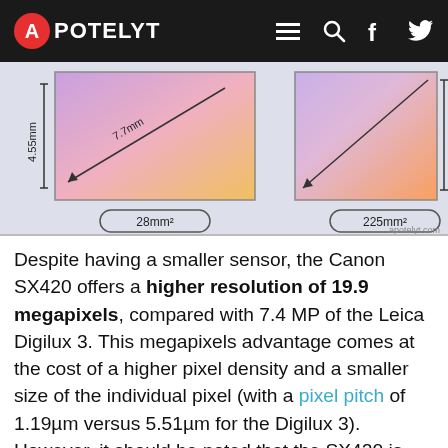APOTELYT
[Figure (illustration): Sensor size comparison diagram showing two colored gradient rectangles representing sensor sizes. Left rectangle labeled 28mm² with measurement 4.55mm height and 7.7mm diagonal. Right rectangle labeled 225mm². Website watermark: apotelyt.com]
Despite having a smaller sensor, the Canon SX420 offers a higher resolution of 19.9 megapixels, compared with 7.4 MP of the Leica Digilux 3. This megapixels advantage comes at the cost of a higher pixel density and a smaller size of the individual pixel (with a pixel pitch of 1.19µm versus 5.51µm for the Digilux 3). However, it should be noted that the SX420 is much more recent (by 9 years and 3 months) than the Digilux 3, and its sensor will have benefitted from technological advances during this time that make it possible to gather light more efficiently. Coming back to sensor resolution, it should be mentioned that the SX420 has no anti-alias filter installed, so that it can capture all the detail its sensor resolves.
The resolution advantage of the Canon SX420 implies